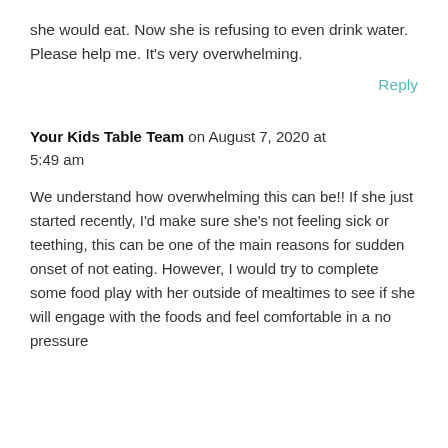she would eat. Now she is refusing to even drink water. Please help me. It's very overwhelming.
Reply
Your Kids Table Team on August 7, 2020 at 5:49 am
We understand how overwhelming this can be!! If she just started recently, I'd make sure she's not feeling sick or teething, this can be one of the main reasons for sudden onset of not eating. However, I would try to complete some food play with her outside of mealtimes to see if she will engage with the foods and feel comfortable in a no pressure